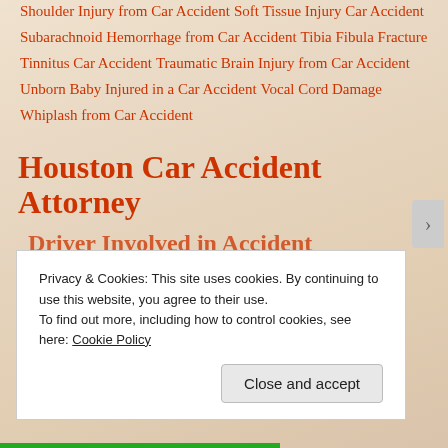Shoulder Injury from Car Accident
Soft Tissue Injury Car Accident
Subarachnoid Hemorrhage from Car Accident
Tibia Fibula Fracture
Tinnitus Car Accident
Traumatic Brain Injury from Car Accident
Unborn Baby Injured in a Car Accident
Vocal Cord Damage
Whiplash from Car Accident
Houston Car Accident Attorney
Driver Involved in Accident
Privacy & Cookies: This site uses cookies. By continuing to use this website, you agree to their use.
To find out more, including how to control cookies, see here: Cookie Policy
Close and accept